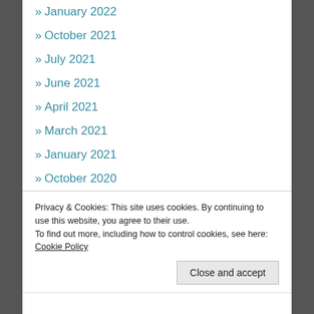» January 2022
» October 2021
» July 2021
» June 2021
» April 2021
» March 2021
» January 2021
» October 2020
» July 2020
» June 2020
» January 2020
Privacy & Cookies: This site uses cookies. By continuing to use this website, you agree to their use.
To find out more, including how to control cookies, see here: Cookie Policy
Close and accept